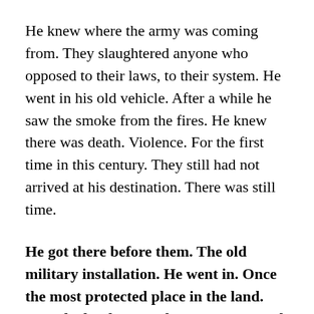He knew where the army was coming from. They slaughtered anyone who opposed to their laws, to their system. He went in his old vehicle. After a while he saw the smoke from the fires. He knew there was death. Violence. For the first time in this century. They still had not arrived at his destination. There was still time.
He got there before them. The old military installation. He went in. Once the most protected place in the land. Now the land was no longer suppressed. No one was in charge. He went into the hanger. He had the old map drawn down from the screen. He found it. The old symbol he had found. The symbol of destruction. A circle with three triangles inside. Below all ...